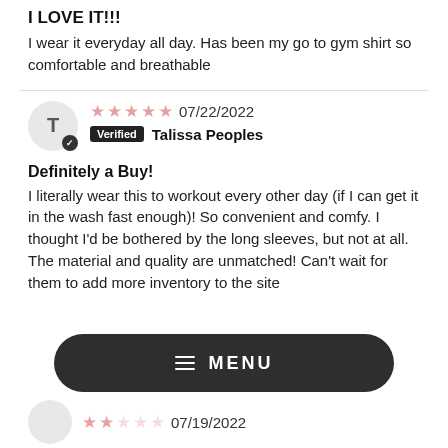I LOVE IT!!!
I wear it everyday all day. Has been my go to gym shirt so comfortable and breathable
★★★★★ 07/22/2022
Verified Talissa Peoples
Definitely a Buy!
I literally wear this to workout every other day (if I can get it in the wash fast enough)! So convenient and comfy. I thought I'd be bothered by the long sleeves, but not at all. The material and quality are unmatched! Can't wait for them to add more inventory to the site
☰ MENU
★★ 07/19/2022